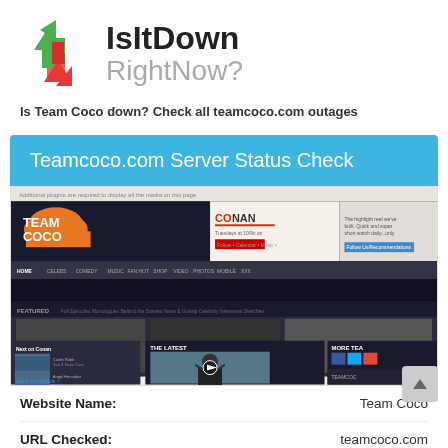[Figure (logo): IsItDownRightNow logo with green up arrow and red down arrow icon, bold black 'IsItDown' text and gray 'RightNow?' text]
Is Team Coco down? Check all teamcoco.com outages
Teamcoco.com Server Status Check
[Figure (screenshot): Screenshot of the teamcoco.com website showing the Team Coco homepage with navigation bar, featured videos, and latest content sections]
| Label | Value |
| --- | --- |
| Website Name: | Team Coco |
| URL Checked: | teamcoco.com |